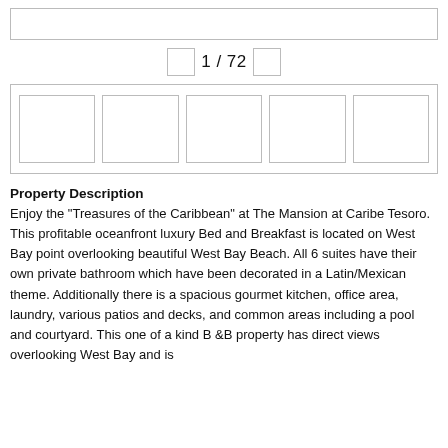[Figure (other): Top search/input bar (empty, bordered rectangle)]
1 / 72
[Figure (other): Thumbnail image strip with five empty bordered rectangles inside a bordered container]
Property Description
Enjoy the "Treasures of the Caribbean" at The Mansion at Caribe Tesoro. This profitable oceanfront luxury Bed and Breakfast is located on West Bay point overlooking beautiful West Bay Beach. All 6 suites have their own private bathroom which have been decorated in a Latin/Mexican theme. Additionally there is a spacious gourmet kitchen, office area, laundry, various patios and decks, and common areas including a pool and courtyard. This one of a kind B &B property has direct views overlooking West Bay and is